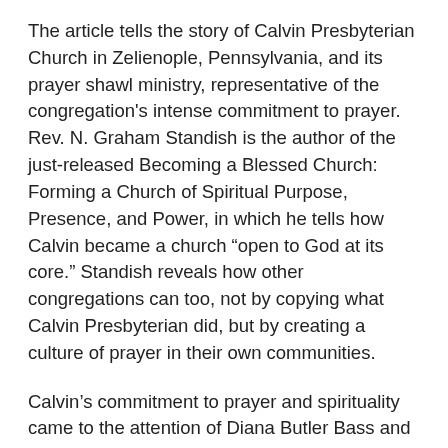The article tells the story of Calvin Presbyterian Church in Zelienople, Pennsylvania, and its prayer shawl ministry, representative of the congregation's intense commitment to prayer. Rev. N. Graham Standish is the author of the just-released Becoming a Blessed Church: Forming a Church of Spiritual Purpose, Presence, and Power, in which he tells how Calvin became a church “open to God at its core.” Standish reveals how other congregations can too, not by copying what Calvin Presbyterian did, but by creating a culture of prayer in their own communities.
Calvin's commitment to prayer and spirituality came to the attention of Diana Butler Bass and her project on Congregations of Intentional Practice. She was impressed by the way prayer permeates the congregation's life, by for example, turning all its business meetings into spiritual formation groups for discerning God's will. Bass selected it as one of ten